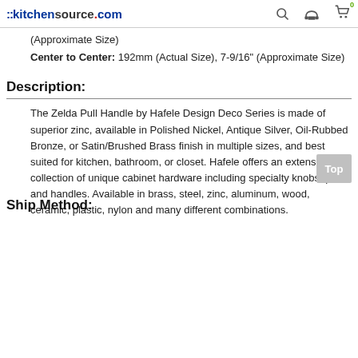::kitchensource.com
(Approximate Size)
Center to Center: 192mm (Actual Size), 7-9/16" (Approximate Size)
Description:
The Zelda Pull Handle by Hafele Design Deco Series is made of superior zinc, available in Polished Nickel, Antique Silver, Oil-Rubbed Bronze, or Satin/Brushed Brass finish in multiple sizes, and best suited for kitchen, bathroom, or closet. Hafele offers an extensive collection of unique cabinet hardware including specialty knobs, pulls, and handles. Available in brass, steel, zinc, aluminum, wood, ceramic, plastic, nylon and many different combinations.
Ship Method: